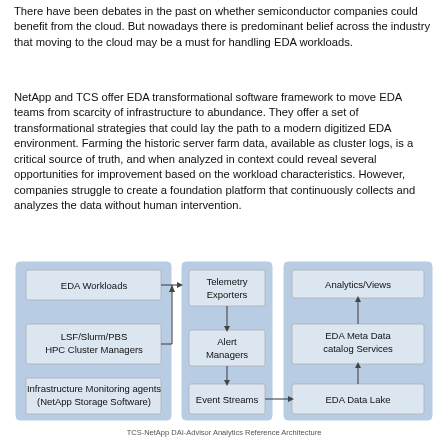There have been debates in the past on whether semiconductor companies could benefit from the cloud. But nowadays there is predominant belief across the industry that moving to the cloud may be a must for handling EDA workloads.
NetApp and TCS offer EDA transformational software framework to move EDA teams from scarcity of infrastructure to abundance. They offer a set of transformational strategies that could lay the path to a modern digitized EDA environment. Farming the historic server farm data, available as cluster logs, is a critical source of truth, and when analyzed in context could reveal several opportunities for improvement based on the workload characteristics. However, companies struggle to create a foundation platform that continuously collects and analyzes the data without human intervention.
[Figure (flowchart): Architecture diagram showing three columns: left column with EDA Workloads, LSF/Slurm/PBS HPC Cluster Managers, and Infrastructure Monitoring agents (NetApp Storage Software); middle column with Telemetry Exporters, Alert Managers, and Event Streams; right column with Analytics/Views, EDA Meta Data catalog Services, and EDA Data Lake. Arrows connect components between columns.]
TCS-NetApp DAI-Advisor Analytics Reference Architecture